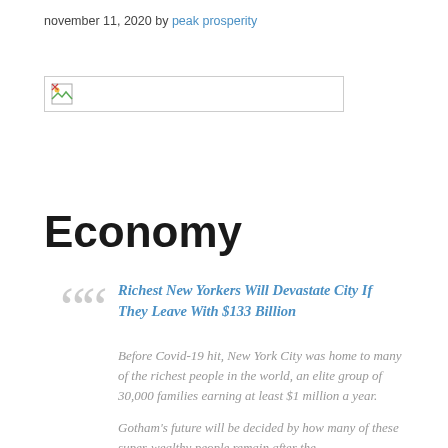november 11, 2020 by peak prosperity
[Figure (other): Broken/missing image placeholder box]
Economy
Richest New Yorkers Will Devastate City If They Leave With $133 Billion
Before Covid-19 hit, New York City was home to many of the richest people in the world, an elite group of 30,000 families earning at least $1 million a year.
Gotham's future will be decided by how many of these super-wealthy people remain after the